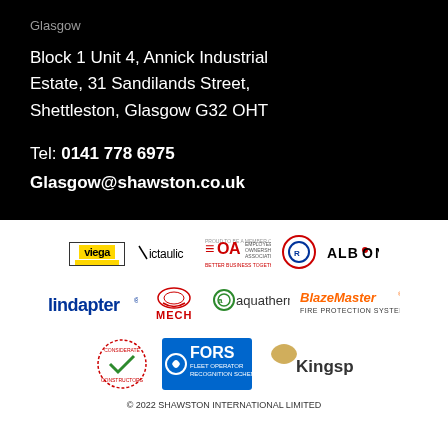Glasgow
Block 1 Unit 4, Annick Industrial Estate, 31 Sandilands Street, Shettleston, Glasgow G32 OHT
Tel: 0141 778 6975
Glasgow@shawston.co.uk
[Figure (logo): Partner logos row 1: Viega, Victaulic, EOA Employee Ownership Association Better Business Together, Rapidrop, Albion]
[Figure (logo): Partner logos row 2: Lindapter, MECH (with gear icon), aquatherm, BlazeMaster Fire Protection Systems]
[Figure (logo): Partner logos row 3: Considerate Constructors, FORS Fleet Operator Recognition Scheme, Kingspan]
© 2022 SHAWSTON INTERNATIONAL LIMITED